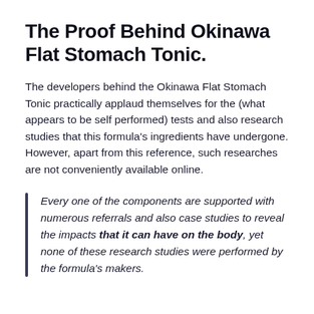The Proof Behind Okinawa Flat Stomach Tonic.
The developers behind the Okinawa Flat Stomach Tonic practically applaud themselves for the (what appears to be self performed) tests and also research studies that this formula's ingredients have undergone. However, apart from this reference, such researches are not conveniently available online.
Every one of the components are supported with numerous referrals and also case studies to reveal the impacts that it can have on the body, yet none of these research studies were performed by the formula's makers.